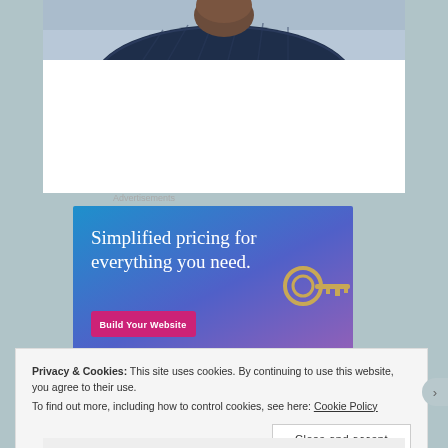[Figure (photo): Partial photo of a person from shoulders up, wearing a dark striped shirt, with sky/clouds in background. Only the top portion (chin/head area) is visible, cropped at top of page.]
Advertisements
[Figure (infographic): Advertisement banner with blue-to-purple gradient background. Text reads 'Simplified pricing for everything you need.' with a pink 'Build Your Website' button and a key image on the right side.]
Privacy & Cookies: This site uses cookies. By continuing to use this website, you agree to their use.
To find out more, including how to control cookies, see here: Cookie Policy
Close and accept